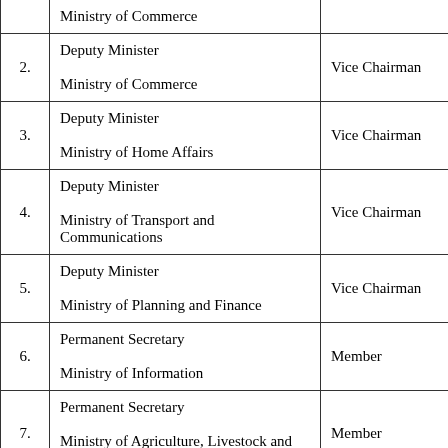| No. | Position/Ministry | Role |
| --- | --- | --- |
|  | Ministry of Commerce |  |
| 2. | Deputy Minister
Ministry of Commerce | Vice Chairman |
| 3. | Deputy Minister
Ministry of Home Affairs | Vice Chairman |
| 4. | Deputy Minister
Ministry of Transport and Communications | Vice Chairman |
| 5. | Deputy Minister
Ministry of Planning and Finance | Vice Chairman |
| 6. | Permanent Secretary
Ministry of Information | Member |
| 7. | Permanent Secretary
Ministry of Agriculture, Livestock and Irrigation | Member |